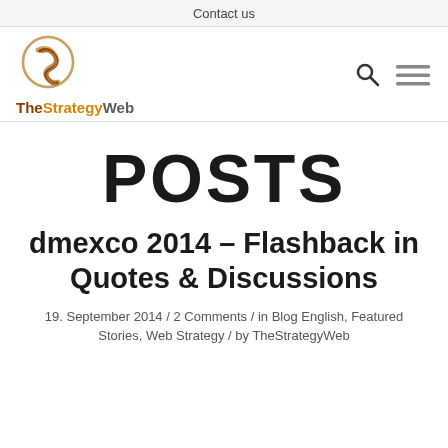Contact us
[Figure (logo): TheStrategyWeb logo — circular S emblem in brown/tan tones with site name below]
POSTS
dmexco 2014 – Flashback in Quotes & Discussions
19. September 2014 / 2 Comments / in Blog English, Featured Stories, Web Strategy / by TheStrategyWeb